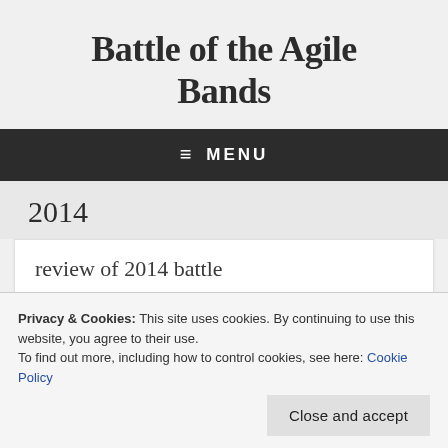Battle of the Agile Bands
≡ MENU
2014
review of 2014 battle
Privacy & Cookies: This site uses cookies. By continuing to use this website, you agree to their use.
To find out more, including how to control cookies, see here: Cookie Policy
stage were newcomers Envatones. We had no idea